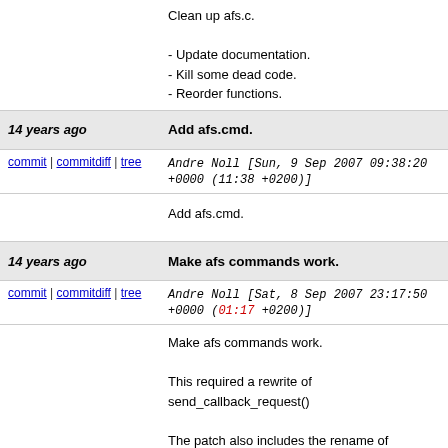Clean up afs.c.

- Update documentation.
- Kill some dead code.
- Reorder functions.
14 years ago	Add afs.cmd.
commit | commitdiff | tree
Andre Noll [Sun, 9 Sep 2007 09:38:20 +0000 (11:38 +0200)]
Add afs.cmd.
14 years ago	Make afs commands work.
commit | commitdiff | tree
Andre Noll [Sat, 8 Sep 2007 23:17:50 +0000 (01:17 +0200)]
Make afs commands work.

This required a rewrite of send_callback_request().

The patch also includes the rename of get_socket which takes the new domain parameter, so that it AF_INET and AF_UNIX sockets.
14 years ago	Introduce template commands for